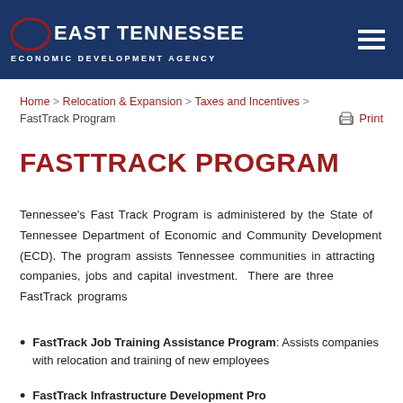EAST TENNESSEE ECONOMIC DEVELOPMENT AGENCY
Home > Relocation & Expansion > Taxes and Incentives > FastTrack Program
FASTTRACK PROGRAM
Tennessee's Fast Track Program is administered by the State of Tennessee Department of Economic and Community Development (ECD). The program assists Tennessee communities in attracting companies, jobs and capital investment. There are three FastTrack programs
FastTrack Job Training Assistance Program: Assists companies with relocation and training of new employees
FastTrack Infrastructure Development Program